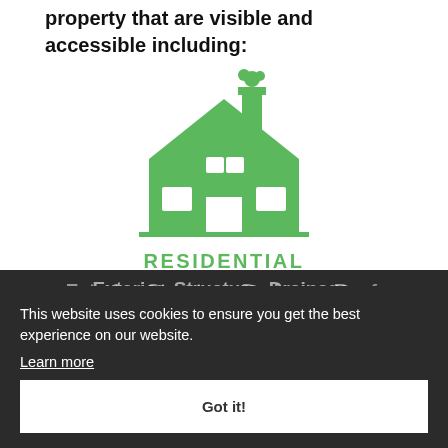property that are visible and accessible including:
[Figure (illustration): Green house icon with chimney and tree, representing residential property inspection]
RESIDENTIAL
Exterior, Structure, Drainage, Roof, Foundation, Fireplace, Attic, Electrical, Plumbing, Heating and Air Conditioning (if outside temperature allows), Hot Water Heaters, Appliances, Garage, Windows, Visible Insulation, as well as Interior
This website uses cookies to ensure you get the best experience on our website.
Learn more
Got it!